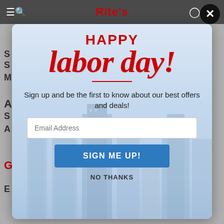Rite's
[Figure (screenshot): Modal popup overlay on a retail website showing a Happy Labor Day promotional sign-up form with email input and 'SIGN ME UP!' button, on a city skyline background]
HAPPY labor day!
Sign up and be the first to know about our best offers and deals!
Email Address
SIGN ME UP!
NO THANKS